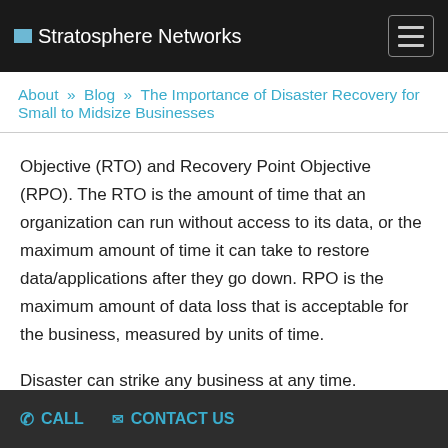Stratosphere Networks
About » Blog » The Importance of Disaster Recovery for Small to Midsize Businesses
Objective (RTO) and Recovery Point Objective (RPO). The RTO is the amount of time that an organization can run without access to its data, or the maximum amount of time it can take to restore data/applications after they go down. RPO is the maximum amount of data loss that is acceptable for the business, measured by units of time.
Disaster can strike any business at any time. However, with
CALL   CONTACT US